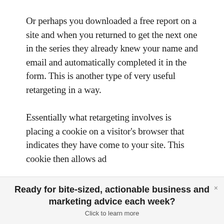Or perhaps you downloaded a free report on a site and when you returned to get the next one in the series they already knew your name and email and automatically completed it in the form. This is another type of very useful retargeting in a way.
Essentially what retargeting involves is placing a cookie on a visitor's browser that indicates they have come to your site. This cookie then allows ad
Ready for bite-sized, actionable business and marketing advice each week? Click to learn more